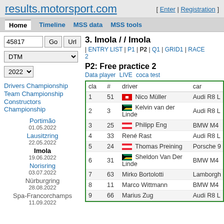results.motorsport.com [ Enter | Registration ]
Home | Timeline | MSS data | MSS tools
45817  Go  Url
DTM
2022
3. Imola / / Imola
| ENTRY LIST | P1 | P2 | Q1 | GRID1 | RACE 2
P2: Free practice 2
Data player   LIVE   coca test
Drivers Championship
Team Championship
Constructors Championship
Portimão
01.05.2022
Lausitzring
22.05.2022
Imola
19.06.2022
Norisring
03.07.2022
Nürburgring
28.08.2022
Spa-Francorchamps
11.09.2022
| cla | # | driver | car |
| --- | --- | --- | --- |
| 1 | 51 | Nico Müller | Audi R8 L |
| 2 | 3 | Kelvin van der Linde | Audi R8 L |
| 3 | 25 | Philipp Eng | BMW M4 |
| 4 | 33 | René Rast | Audi R8 L |
| 5 | 24 | Thomas Preining | Porsche 9 |
| 6 | 31 | Sheldon Van Der Linde | BMW M4 |
| 7 | 63 | Mirko Bortolotti | Lamborgh |
| 8 | 11 | Marco Wittmann | BMW M4 |
| 9 | 66 | Marius Zug | Audi R8 L |